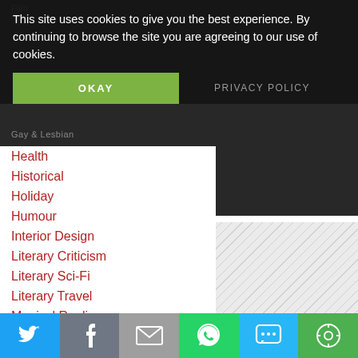This site uses cookies to give you the best experience. By continuing to browse the site you are agreeing to our use of cookies.
OKAY
PRIVACY POLICY
Health
Historical
Holiday
Humour
Interior Design
Literary Criticism
Literary Sci-Fi
Literary Travel
Magical Realism
Mathematics
Memoir
Music
Mystery
Mythology
New Age
Non-Fiction